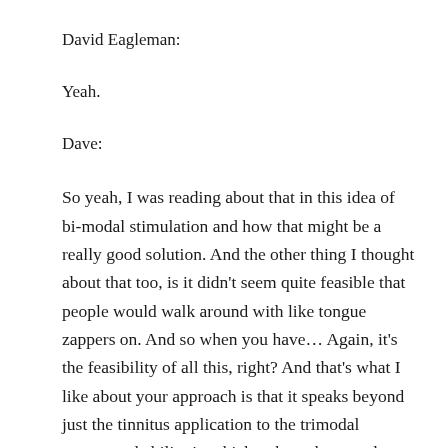David Eagleman:
Yeah.
Dave:
So yeah, I was reading about that in this idea of bi-modal stimulation and how that might be a really good solution. And the other thing I thought about that too, is it didn't seem quite feasible that people would walk around with like tongue zappers on. And so when you have… Again, it's the feasibility of all this, right? And that's what I like about your approach is that it speaks beyond just the tinnitus application to the trimodal augmented ability in which to hear the sound around you is you're not asking a lot, the onus isn't a whole lot, whether it's the price point, where it's the day-to-